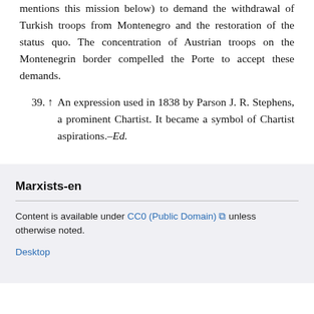mentions this mission below) to demand the withdrawal of Turkish troops from Montenegro and the restoration of the status quo. The concentration of Austrian troops on the Montenegrin border compelled the Porte to accept these demands.
39. ↑ An expression used in 1838 by Parson J. R. Stephens, a prominent Chartist. It became a symbol of Chartist aspirations.–Ed.
Marxists-en
Content is available under CC0 (Public Domain) unless otherwise noted.
Desktop